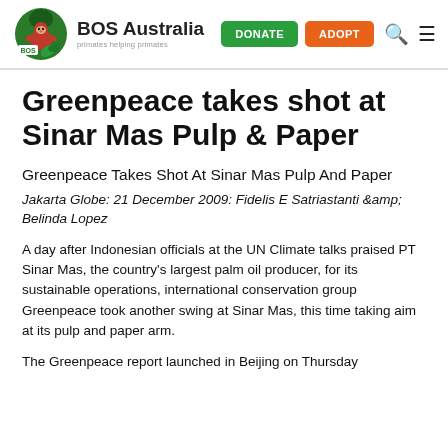BOS Australia — primates helping primates | DONATE | ADOPT
Greenpeace takes shot at Sinar Mas Pulp & Paper
Greenpeace Takes Shot At Sinar Mas Pulp And Paper
Jakarta Globe: 21 December 2009: Fidelis E Satriastanti &amp; Belinda Lopez
A day after Indonesian officials at the UN Climate talks praised PT Sinar Mas, the country's largest palm oil producer, for its sustainable operations, international conservation group Greenpeace took another swing at Sinar Mas, this time taking aim at its pulp and paper arm.
The Greenpeace report launched in Beijing on Thursday